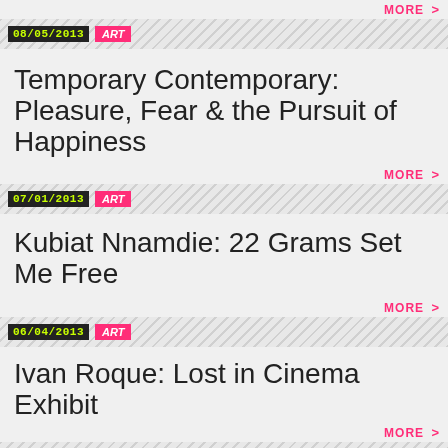MORE >
08/05/2013  ART
Temporary Contemporary: Pleasure, Fear & the Pursuit of Happiness
MORE >
07/01/2013  ART
Kubiat Nnamdie: 22 Grams Set Me Free
MORE >
06/04/2013  ART
Ivan Roque: Lost in Cinema Exhibit
MORE >
05/07/2013  ART
MUJER_CITA_MIA: INTERVENTION ART